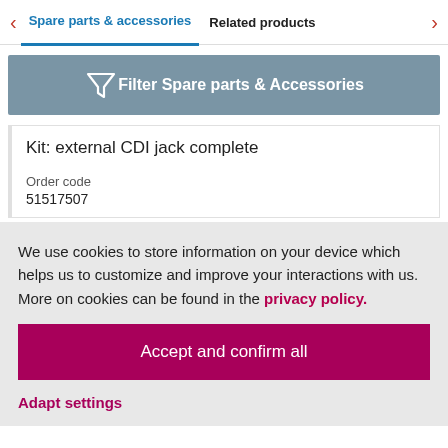Spare parts & accessories | Related products
[Figure (screenshot): Filter Spare parts & Accessories button with funnel icon on grey-blue background]
Kit: external CDI jack complete
Order code
51517507
We use cookies to store information on your device which helps us to customize and improve your interactions with us. More on cookies can be found in the privacy policy.
Accept and confirm all
Adapt settings